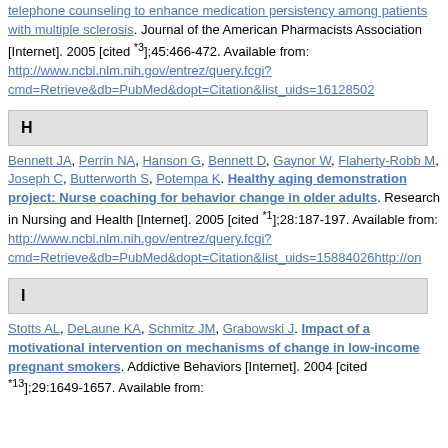telephone counseling to enhance medication persistency among patients with multiple sclerosis. Journal of the American Pharmacists Association [Internet]. 2005 [cited *3];45:466-472. Available from: http://www.ncbi.nlm.nih.gov/entrez/query.fcgi?cmd=Retrieve&db=PubMed&dopt=Citation&list_uids=16128502
H
Bennett JA, Perrin NA, Hanson G, Bennett D, Gaynor W, Flaherty-Robb M, Joseph C, Butterworth S, Potempa K. Healthy aging demonstration project: Nurse coaching for behavior change in older adults. Research in Nursing and Health [Internet]. 2005 [cited *1];28:187-197. Available from: http://www.ncbi.nlm.nih.gov/entrez/query.fcgi?cmd=Retrieve&db=PubMed&dopt=Citation&list_uids=15884026http://on
I
Stotts AL, DeLaune KA, Schmitz JM, Grabowski J. Impact of a motivational intervention on mechanisms of change in low-income pregnant smokers. Addictive Behaviors [Internet]. 2004 [cited *13];29:1649-1657. Available from: